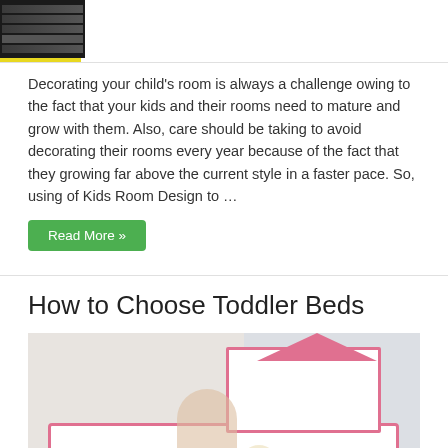[Figure (photo): Top portion of a kids bedroom photo showing bunk beds, yellow shelving unit, and dark walls]
Decorating your child's room is always a challenge owing to the fact that your kids and their rooms need to mature and grow with them. Also, care should be taking to avoid decorating their rooms every year because of the fact that they growing far above the current style in a faster pace. So, using of Kids Room Design to …
Read More »
How to Choose Toddler Beds
[Figure (photo): A toddler sitting on a dollhouse-themed pink and white toddler bed with green polka dot bedding, stuffed animals, in a room with white brick walls and wood floor]